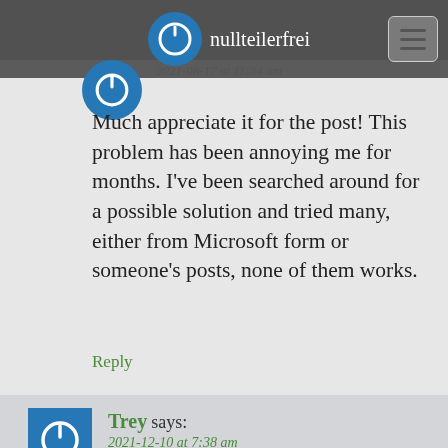nullteilerfrei | 2021-08-17 at 11:34 am
Much appreciate it for the post! This problem has been annoying me for months. I've been searched around for a possible solution and tried many, either from Microsoft form or someone's posts, none of them works.
Reply
Trey says: 2021-12-10 at 7:38 am
You have changed my life with this post. There should be a